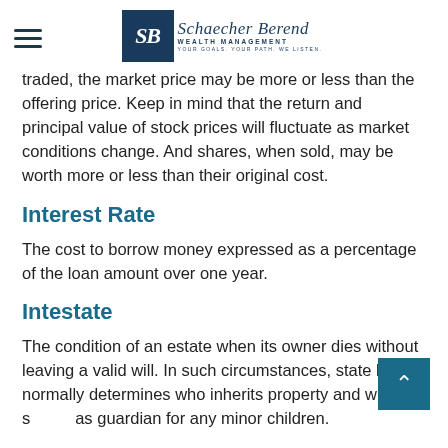Schaecher Berend Wealth Management — YOUR GOALS. YOUR PATH. WE LISTEN.
traded, the market price may be more or less than the offering price. Keep in mind that the return and principal value of stock prices will fluctuate as market conditions change. And shares, when sold, may be worth more or less than their original cost.
Interest Rate
The cost to borrow money expressed as a percentage of the loan amount over one year.
Intestate
The condition of an estate when its owner dies without leaving a valid will. In such circumstances, state law normally determines who inherits property and who serves as guardian for any minor children.